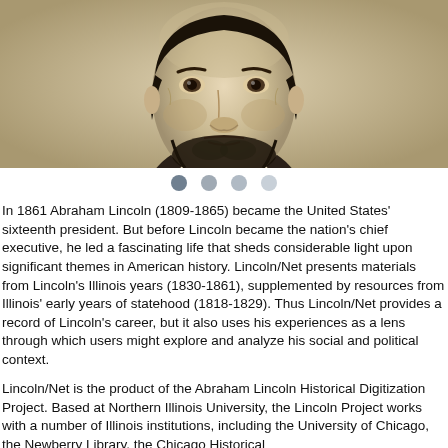[Figure (photo): Black and white engraving/portrait photograph of Abraham Lincoln, showing his face and upper chest, with characteristic beard and formal attire]
[Figure (infographic): Four circular navigation dots in a row, the first darker (selected) and subsequent ones progressively lighter]
In 1861 Abraham Lincoln (1809-1865) became the United States' sixteenth president. But before Lincoln became the nation's chief executive, he led a fascinating life that sheds considerable light upon significant themes in American history. Lincoln/Net presents materials from Lincoln's Illinois years (1830-1861), supplemented by resources from Illinois' early years of statehood (1818-1829). Thus Lincoln/Net provides a record of Lincoln's career, but it also uses his experiences as a lens through which users might explore and analyze his social and political context.
Lincoln/Net is the product of the Abraham Lincoln Historical Digitization Project. Based at Northern Illinois University, the Lincoln Project works with a number of Illinois institutions, including the University of Chicago, the Newberry Library, the Chicago Historical